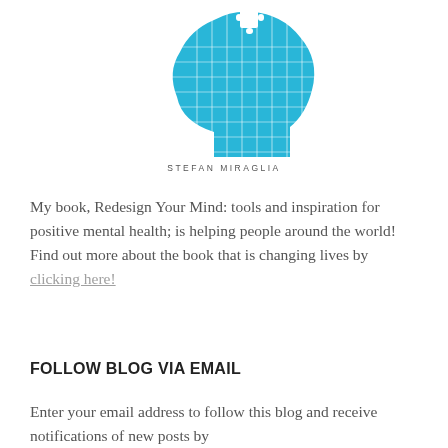[Figure (illustration): Blue puzzle-piece human head silhouette with a white puzzle piece near the top, with text 'STEFAN MIRAGLIA' below in small caps]
My book, Redesign Your Mind: tools and inspiration for positive mental health; is helping people around the world! Find out more about the book that is changing lives by clicking here!
FOLLOW BLOG VIA EMAIL
Enter your email address to follow this blog and receive notifications of new posts by